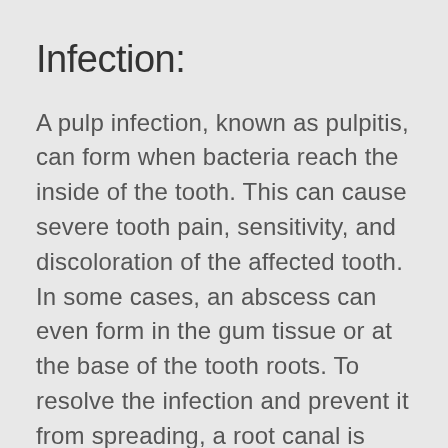Infection:
A pulp infection, known as pulpitis, can form when bacteria reach the inside of the tooth. This can cause severe tooth pain, sensitivity, and discoloration of the affected tooth. In some cases, an abscess can even form in the gum tissue or at the base of the tooth roots. To resolve the infection and prevent it from spreading, a root canal is generally performed and any abscesses are drained. Even if your abscess has already ruptured, it is important to seek dental care to